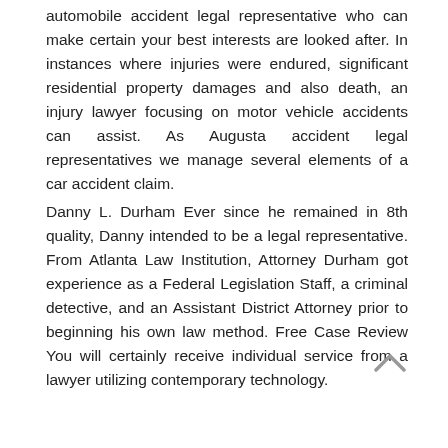automobile accident legal representative who can make certain your best interests are looked after. In instances where injuries were endured, significant residential property damages and also death, an injury lawyer focusing on motor vehicle accidents can assist. As Augusta accident legal representatives we manage several elements of a car accident claim.
Danny L. Durham Ever since he remained in 8th quality, Danny intended to be a legal representative. From Atlanta Law Institution, Attorney Durham got experience as a Federal Legislation Staff, a criminal detective, and an Assistant District Attorney prior to beginning his own law method. Free Case Review You will certainly receive individual service from a lawyer utilizing contemporary technology.